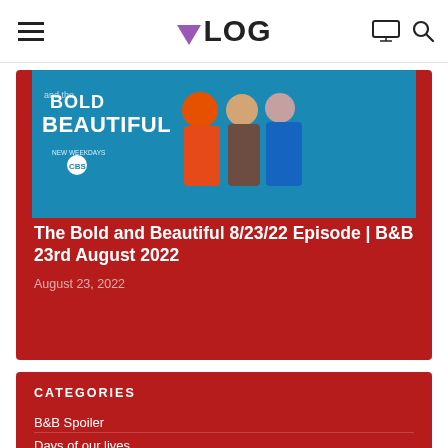VLOG
[Figure (photo): The Bold and Beautiful CBS TV show promotional image with characters in colorful outfits against a blue background with show title text]
The Bold and Beautiful 8/23/22 Episode | B&B 23rd August 2022
August 23, 2022
CATEGORIES
B&B Spoiler
Days of our lives
DOOL spoiler